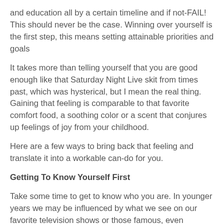and education all by a certain timeline and if not-FAIL! This should never be the case. Winning over yourself is the first step, this means setting attainable priorities and goals
It takes more than telling yourself that you are good enough like that Saturday Night Live skit from times past, which was hysterical, but I mean the real thing. Gaining that feeling is comparable to that favorite comfort food, a soothing color or a scent that conjures up feelings of joy from your childhood.
Here are a few ways to bring back that feeling and translate it into a workable can-do for you.
Getting To Know Yourself First
Take some time to get to know who you are. In younger years we may be influenced by what we see on our favorite television shows or those famous, even infamous for that matter. Our social networks can form our thought patterns and opinions. Does any of this factor into our realities? There is nothing wrong with some suggestions however, dig deeper, seeking out what you really know to be true for